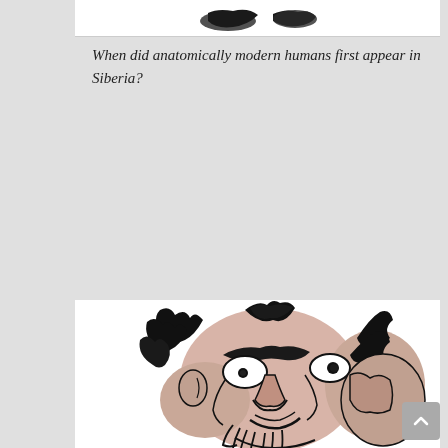[Figure (illustration): Small fossil/bone fragments illustration at the top of the page]
When did anatomically modern humans first appear in Siberia?
[Figure (illustration): Black and white ink drawing/caricature of a prehistoric human face with wild hair, a prominent brow, wide eyes, and a beard, shown from a slightly angled perspective]